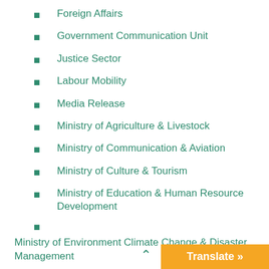Foreign Affairs
Government Communication Unit
Justice Sector
Labour Mobility
Media Release
Ministry of Agriculture & Livestock
Ministry of Communication & Aviation
Ministry of Culture & Tourism
Ministry of Education & Human Resource Development
Ministry of Environment Climate Change & Disaster Management
Ministry of Fisheries & Marine Resources
Ministry of Foreign Affairs & External Trade
Ministry of Forestry & Research